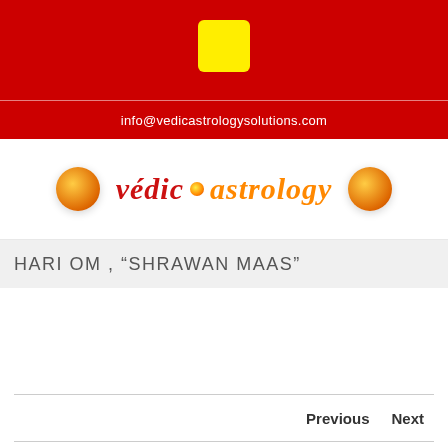[Figure (logo): Yellow rounded square logo/icon centered in red header banner]
info@vedicastrologysolutions.com
[Figure (logo): Vedic Astrology logo with decorative red and orange stylized text, flanked by two orange orb decorations]
HARI OM , “SHRAWAN MAAS”
Previous   Next